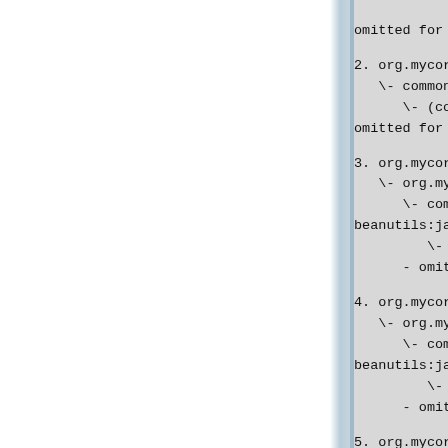omitted for conf...
2. org.mycore:myc...
   \- commons-bea...
      \- (commons-l...
omitted for conf
3. org.mycore:myc...
   \- org.mycore:m...
      \- commons-b...
beanutils:jar:1.7...
         \- (commons...
      - omitted for cor
4. org.mycore:myc...
   \- org.mycore:m...
      \- commons-b...
beanutils:jar:1.7...
         \- (commons...
      - omitted for cor
5. org.mycore:myc...
   \- org.mycore:m...
      \- commons-b...
beanutils:jar:1.7...
         \- (commons...
      - omitted for cor
6. org.mycore:myc...
   \- org.mycore:m...
      \- commons-b...